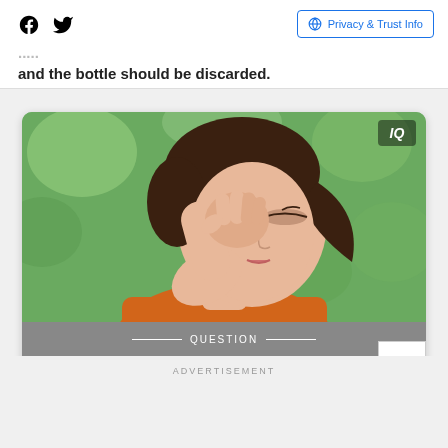Facebook Twitter | Privacy & Trust Info
and the bottle should be discarded.
[Figure (photo): Woman rubbing her eye with her fist, appearing to have eye irritation or allergy symptoms, outdoors with green blurred background. IQ badge in top right corner.]
QUESTION
Allergies can best be described as:
ADVERTISEMENT